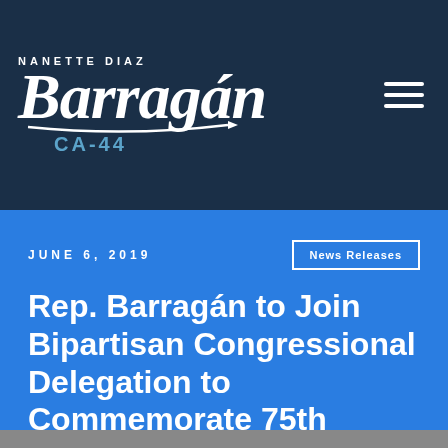[Figure (logo): Nanette Diaz Barragán CA-44 congressional logo in script font on dark navy background with hamburger menu icon]
JUNE 6, 2019
News Releases
Rep. Barragán to Join Bipartisan Congressional Delegation to Commemorate 75th Anniversary of D-Day